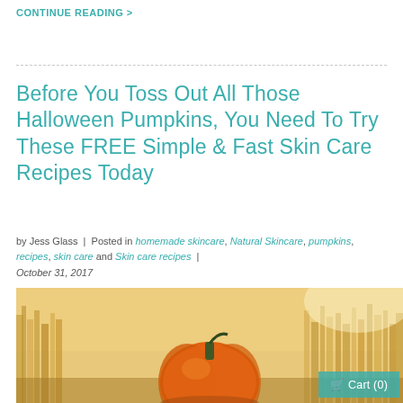CONTINUE READING >
Before You Toss Out All Those Halloween Pumpkins, You Need To Try These FREE Simple & Fast Skin Care Recipes Today
by Jess Glass | Posted in homemade skincare, Natural Skincare, pumpkins, recipes, skin care and Skin care recipes | October 31, 2017
[Figure (photo): A bright orange pumpkin in a warm autumn field with dried golden grasses in the background]
Cart (0)